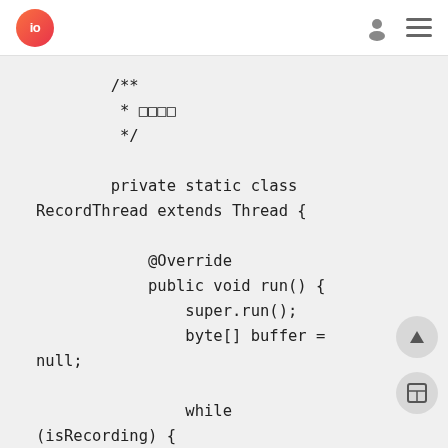io [logo] [user icon] [menu icon]
/**
 * □□□□
 */

private static class RecordThread extends Thread {

        @Override
        public void run() {
            super.run();
            byte[] buffer = null;

            while (isRecording) {
                buffer = new